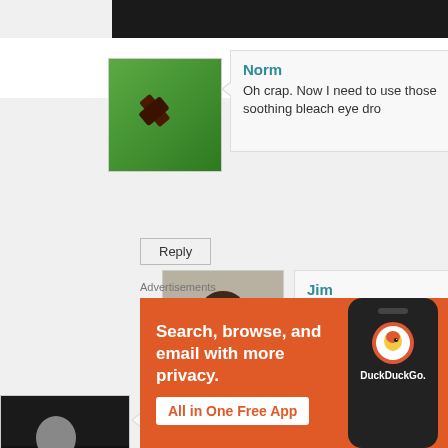[Figure (screenshot): Dark image strip at top, partially visible]
[Figure (photo): Norm avatar - green background with dark hammer icon]
Norm
Oh crap. Now I need to use those soothing bleach eye dro
Reply
[Figure (photo): Jim avatar - man with dark hair wearing jacket]
Jim
It won't work – I tried when Don originally posted it!
[Figure (photo): The Alemonger avatar - man in dark setting]
The Alemonger
Thanks for the visual. No need to reach in for a second pinch of chi
Advertisements
[Figure (screenshot): DuckDuckGo advertisement banner - orange background with text 'Search, browse, and email with more privacy. All in One Free App' and phone illustration with DuckDuckGo logo]